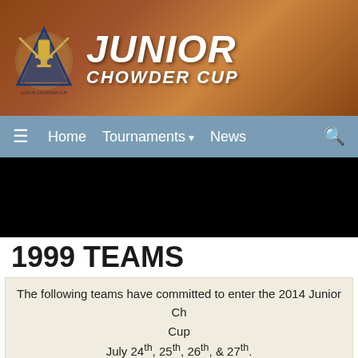[Figure (logo): Junior Chowder Cup logo with hockey sticks, trophy/cup emblem and text 'Junior Chowder Cup']
Home  Tournaments  News
1999 TEAMS
The following teams have committed to enter the 2014 Junior Chowder Cup
July 24th, 25th, 26th, & 27th.
Foxboro Sports Center, Foxboro, Ma – Rodman Arena, Walpole, Ma
Canton Sports Plex, Canton, Ma